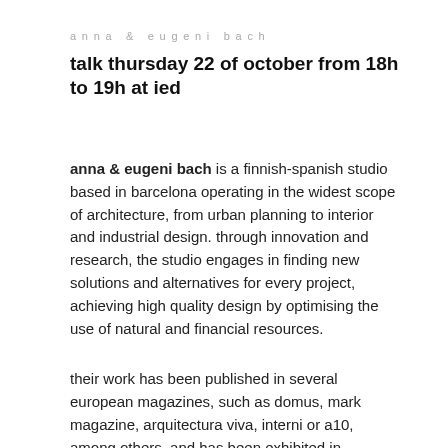anna & eugeni bach
talk thursday 22 of october from 18h to 19h at ied
anna & eugeni bach is a finnish-spanish studio based in barcelona operating in the widest scope of architecture, from urban planning to interior and industrial design. through innovation and research, the studio engages in finding new solutions and alternatives for every project, achieving high quality design by optimising the use of natural and financial resources.
their work has been published in several european magazines, such as domus, mark magazine, arquitectura viva, interni or a10, among others, and has been exhibited in “export”, ico museum, madrid, 2015;